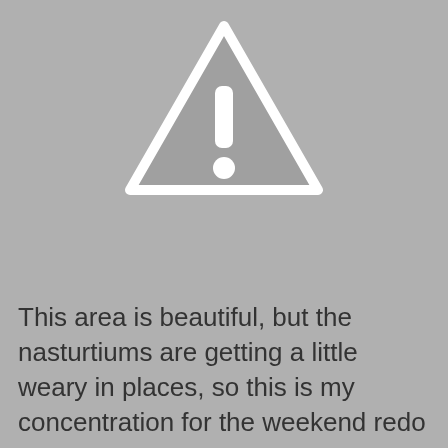[Figure (illustration): Gray warning triangle icon with white exclamation mark, shown on a gray background]
This area is beautiful, but the nasturtiums are getting a little weary in places, so this is my concentration for the weekend redo